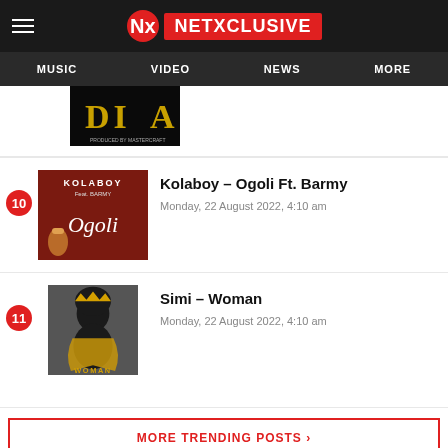NETXCLUSIVE — MUSIC | VIDEO | NEWS | MORE
[Figure (screenshot): Partial thumbnail of a dark music cover with gold letters 'DIA', credited to Mastercraft]
Kolaboy – Ogoli Ft. Barmy
Monday, 22 August 2022, 4:10 am
[Figure (screenshot): Thumbnail of Kolaboy Ogoli featuring Barmy — red/brown background with cursive 'Ogoli' text and a hand holding a cup]
Simi – Woman
Monday, 22 August 2022, 4:10 am
[Figure (screenshot): Thumbnail of Simi Woman — illustrated woman with afro and gold crown, holding gold fabric, grey background]
MORE TRENDING POSTS ›